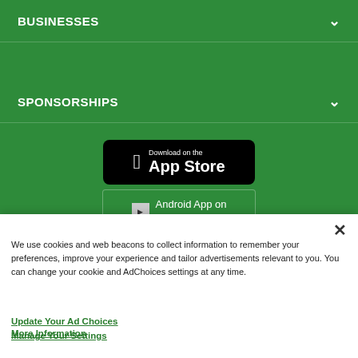BUSINESSES
SPONSORSHIPS
[Figure (screenshot): Download on the App Store badge - black rounded rectangle with Apple logo and text 'Download on the App Store']
[Figure (screenshot): Android App on Google Play badge - partially visible]
We use cookies and web beacons to collect information to remember your preferences, improve your experience and tailor advertisements relevant to you. You can change your cookie and AdChoices settings at any time.
Update Your Ad Choices
More Information
Manage Your Settings